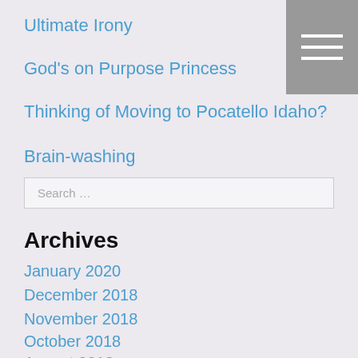Ultimate Irony
God's on Purpose Princess
Thinking of Moving to Pocatello Idaho?
Brain-washing
[Figure (other): Hamburger menu icon — three horizontal white lines on a grey square background]
Search …
Archives
January 2020
December 2018
November 2018
October 2018
August 2018